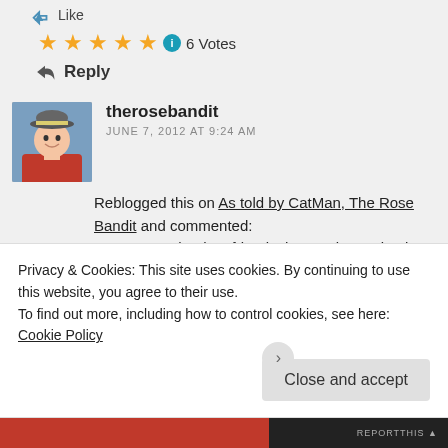Like
★★★★★  ℹ 6 Votes
↩ Reply
therosebandit
JUNE 7, 2012 AT 9:24 AM
Reblogged this on As told by CatMan, The Rose Bandit and commented: For anyone that has friends that are becoming long term students and continuing their
Privacy & Cookies: This site uses cookies. By continuing to use this website, you agree to their use.
To find out more, including how to control cookies, see here: Cookie Policy
Close and accept